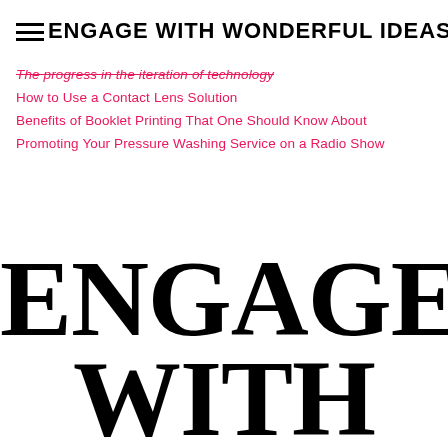ENGAGE WITH WONDERFUL IDEAS
The progress in the iteration of technology
How to Use a Contact Lens Solution
Benefits of Booklet Printing That One Should Know About
Promoting Your Pressure Washing Service on a Radio Show
ENGAGE WITH